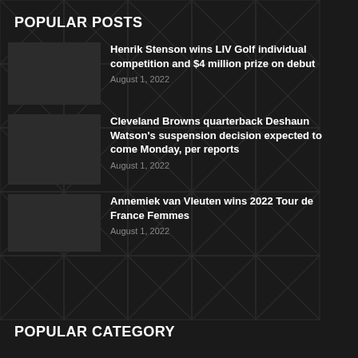POPULAR POSTS
Henrik Stenson wins LIV Golf individual competition and $4 million prize on debut
August 1, 2022
Cleveland Browns quarterback Deshaun Watson's suspension decision expected to come Monday, per reports
August 1, 2022
Annemiek van Vleuten wins 2022 Tour de France Femmes
August 1, 2022
POPULAR CATEGORY